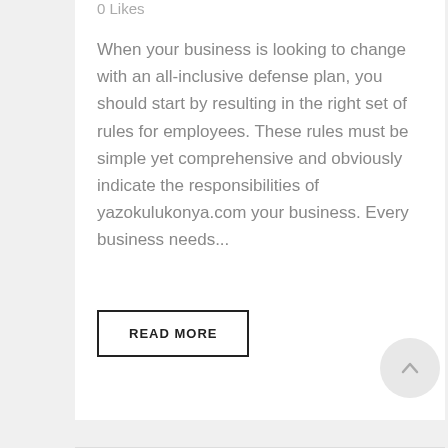0 Likes
When your business is looking to change with an all-inclusive defense plan, you should start by resulting in the right set of rules for employees. These rules must be simple yet comprehensive and obviously indicate the responsibilities of yazokulukonya.com your business. Every business needs...
READ MORE